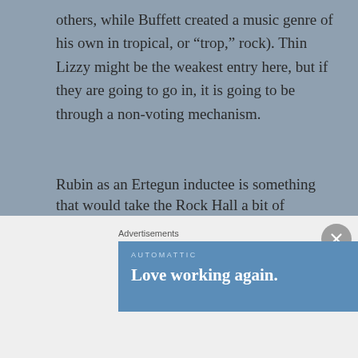others, while Buffett created a music genre of his own in tropical, or “trop,” rock). Thin Lizzy might be the weakest entry here, but if they are going to go in, it is going to be through a non-voting mechanism.
[Figure (other): Advertisement banner: dark navy background with 'Your site. Built by us. Built for you.' on the left and 'Built By [WordPress logo]' on the right.]
Rubin as an Ertegun inductee is something that would take the Rock Hall a bit of pushing to do. Rubin, as the creator and leader of Def Jam Records and the producer behind a slew of top rap acts, would not be the first choice of many in the music world. But the world of
[Figure (other): Advertisement banner: blue background with 'AUTOMATTIC' label and 'Love working again.' text in white.]